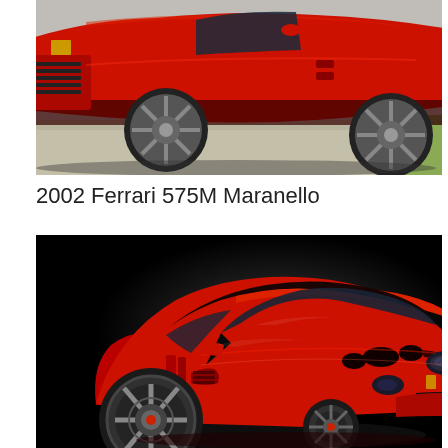[Figure (photo): Top portion of a red Ferrari 575M Maranello shot from the side/front at low angle, showing the hood, front bumper, wheel, and side body against a gravel/grass background]
2002 Ferrari 575M Maranello
[Figure (photo): Red Ferrari sports car (resembling a Ferrari 599 or similar GT model) photographed in a dramatic three-quarter front view against a black background with studio lighting highlighting the curves of the vehicle]